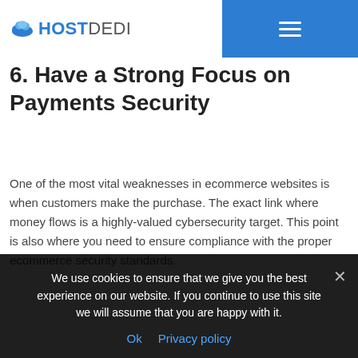HOSTDEDI
6. Have a Strong Focus on Payments Security
One of the most vital weaknesses in ecommerce websites is when customers make the purchase. The exact link where money flows is a highly-valued cybersecurity target. This point is also where you need to ensure compliance with the proper ecommerce security standards.
Standards will vary depending on the payment methods accepted. For example, if you allow
We use cookies to ensure that we give you the best experience on our website. If you continue to use this site we will assume that you are happy with it.
Ok  Privacy policy